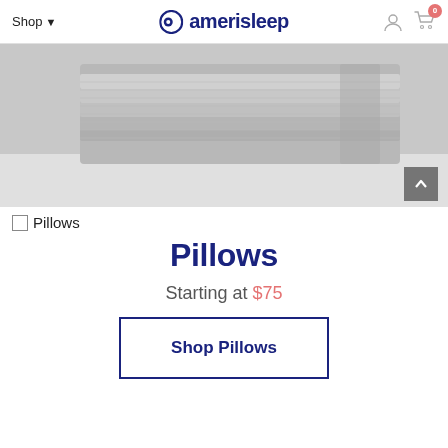Shop ▾   amerisleep   [user icon] [cart 0]
[Figure (photo): Folded light grey pillows/sheets stacked on a white surface, cropped top view]
☐ Pillows
Pillows
Starting at $75
Shop Pillows